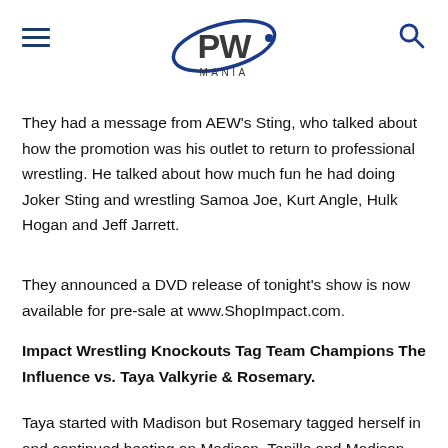PW MANIA
They had a message from AEW's Sting, who talked about how the promotion was his outlet to return to professional wrestling. He talked about how much fun he had doing Joker Sting and wrestling Samoa Joe, Kurt Angle, Hulk Hogan and Jeff Jarrett.
They announced a DVD release of tonight's show is now available for pre-sale at www.ShopImpact.com.
Impact Wrestling Knockouts Tag Team Champions The Influence vs. Taya Valkyrie & Rosemary.
Taya started with Madison but Rosemary tagged herself in and continued beating on Madison. Tenille and Madison cut off Rosemary and tagged in and out, preventing her from making the tag. Rosemary finally nailed a belly to back...